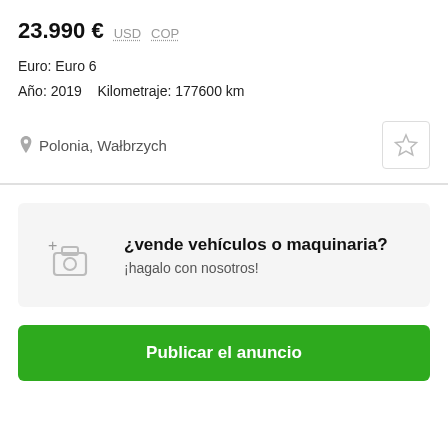23.990 € USD COP
Euro: Euro 6
Año: 2019   Kilometraje: 177600 km
Polonia, Wałbrzych
¿vende vehículos o maquinaria? ¡hagalo con nosotros!
Publicar el anuncio